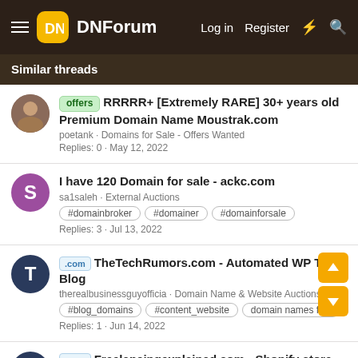DNForum — Log in  Register
Similar threads
offers RRRRR+ [Extremely RARE] 30+ years old Premium Domain Name Moustrak.com — poetank · Domains for Sale - Offers Wanted — Replies: 0 · May 12, 2022
I have 120 Domain for sale - ackc.com — sa1saleh · External Auctions — #domainbroker #domainer #domainforsale — Replies: 3 · Jul 13, 2022
.com TheTechRumors.com - Automated WP Tech Blog — therealbusinessguyofficia · Domain Name & Website Auctions — #blog_domains #content_website domain names for sa — Replies: 1 · Jun 14, 2022
.com Freelancingexplained.com - Shopify store